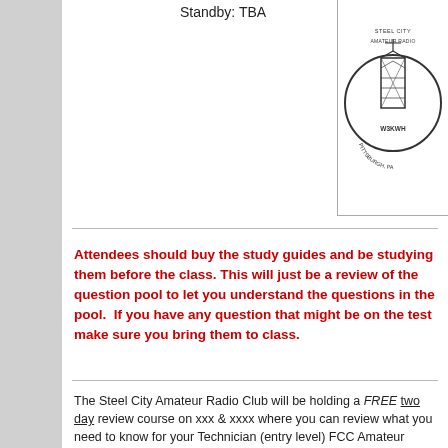Standby: TBA
[Figure (logo): Steel City Amateur Radio Club circular logo with tower illustration, W3KWH, Pittsburgh, PA]
Attendees should buy the study guides and be studying them before the class. This will just be a review of the question pool to let you understand the questions in the pool. If you have any question that might be on the test make sure you bring them to class.
The Steel City Amateur Radio Club will be holding a FREE two day review course on xxx & xxxx where you can review what you need to know for your Technician (entry level) FCC Amateur Radio License. The Technician Class license is your gateway to the world-wide excitement of Amateur Radio …